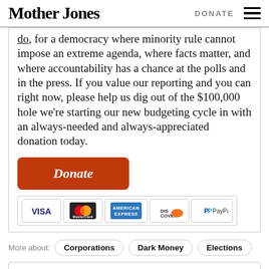Mother Jones | DONATE
do, for a democracy where minority rule cannot impose an extreme agenda, where facts matter, and where accountability has a chance at the polls and in the press. If you value our reporting and you can right now, please help us dig out of the $100,000 hole we're starting our new budgeting cycle in with an always-needed and always-appreciated donation today.
[Figure (other): Orange rounded rectangle Donate button followed by payment method icons: VISA, MasterCard, American Express, Discover, PayPal]
More about: Corporations  Dark Money  Elections